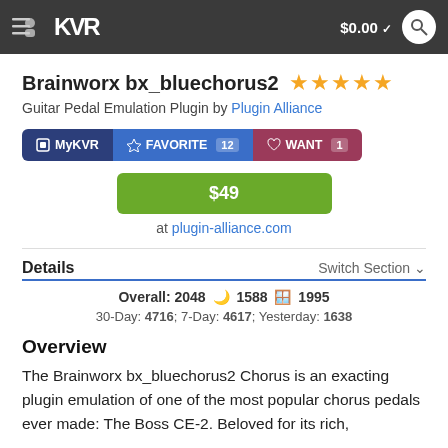KVR  $0.00
Brainworx bx_bluechorus2 ★★★★★
Guitar Pedal Emulation Plugin by Plugin Alliance
MyKVR  FAVORITE 12  WANT 1
$49
at plugin-alliance.com
Details
Switch Section
Overall: 2048  1588  1995
30-Day: 4716; 7-Day: 4617; Yesterday: 1638
Overview
The Brainworx bx_bluechorus2 Chorus is an exacting plugin emulation of one of the most popular chorus pedals ever made: The Boss CE-2. Beloved for its rich,